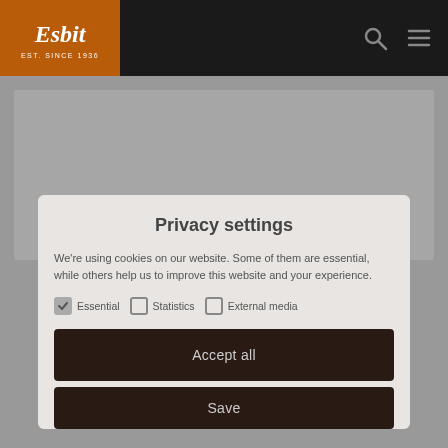[Figure (logo): Esbit logo with orange/brown background, white script text 'Esbit' and 'EST. SINCE 1936']
Privacy settings
We're using cookies on our website. Some of them are essential, while others help us to improve this website and your experience.
Essential (checked), Statistics (unchecked), External media (unchecked)
Accept all
Save